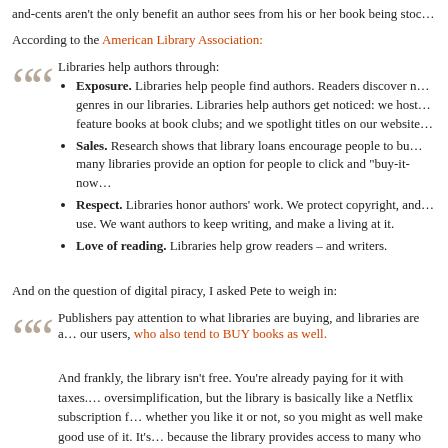and-cents aren't the only benefit an author sees from his or her book being stoc...
According to the American Library Association:
Exposure. Libraries help people find authors. Readers discover new genres in our libraries. Libraries help authors get noticed: we host feature books at book clubs; and we spotlight titles on our website...
Sales. Research shows that library loans encourage people to buy... many libraries provide an option for people to click and "buy-it-now...
Respect. Libraries honor authors' work. We protect copyright, and... use. We want authors to keep writing, and make a living at it.
Love of reading. Libraries help grow readers – and writers.
And on the question of digital piracy, I asked Pete to weigh in:
Publishers pay attention to what libraries are buying, and libraries are a... our users, who also tend to BUY books as well.
And frankly, the library isn't free. You're already paying for it with taxes... oversimplification, but the library is basically like a Netflix subscription... whether you like it or not, so you might as well make good use of it. It's... because the library provides access to many who wouldn't have it othe...
If anything, the library really removes most any excuse to pirate books...